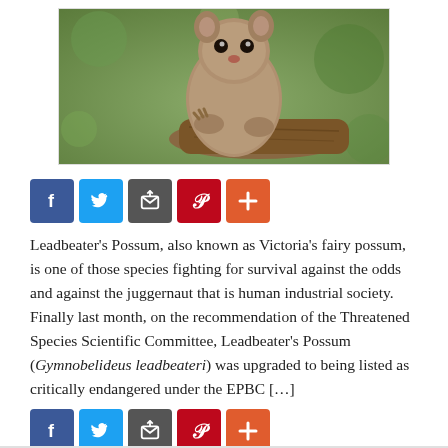[Figure (photo): Close-up photo of a Leadbeater's Possum (small marsupial) clinging to a branch, with a blurred green background.]
[Figure (infographic): Social sharing buttons row: Facebook (blue), Twitter (light blue), Email/share (grey), Pinterest (red), Plus/more (orange-red)]
Leadbeater's Possum, also known as Victoria's fairy possum, is one of those species fighting for survival against the odds and against the juggernaut that is human industrial society. Finally last month, on the recommendation of the Threatened Species Scientific Committee, Leadbeater's Possum (Gymnobelideus leadbeateri) was upgraded to being listed as critically endangered under the EPBC […]
[Figure (infographic): Social sharing buttons row (repeated): Facebook (blue), Twitter (light blue), Email/share (grey), Pinterest (red), Plus/more (orange-red)]
1 Vote